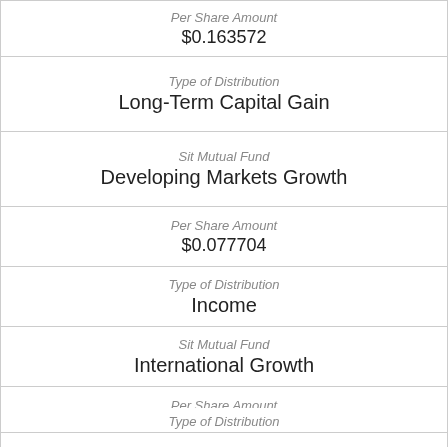| Per Share Amount | $0.163572 |
| Type of Distribution | Long-Term Capital Gain |
| Sit Mutual Fund | Developing Markets Growth |
| Per Share Amount | $0.077704 |
| Type of Distribution | Income |
| Sit Mutual Fund | International Growth |
| Per Share Amount | $0.179307 |
| Type of Distribution |  |